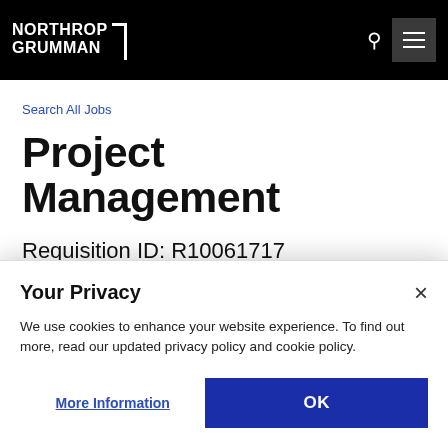NORTHROP GRUMMAN
Search All Jobs
Project Management
Requisition ID: R10061717
Your Privacy
We use cookies to enhance your website experience. To find out more, read our updated privacy policy and cookie policy.
More Information
OK